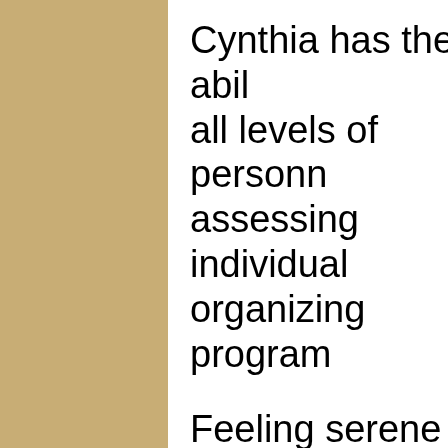Cynthia has the abil all levels of personn assessing individual organizing program
Feeling serene and the goal. Being able home and having gr and love. Also savin higher goals. That is Together we can acc